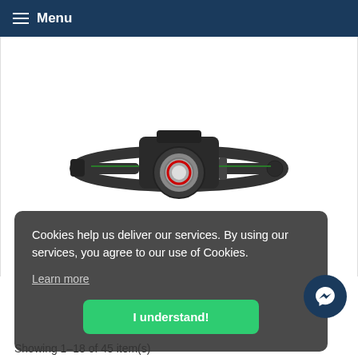Menu
[Figure (photo): A black headlamp/head torch with adjustable straps and a circular lens with a silver rim, photographed from the front against a white background.]
Cookies help us deliver our services. By using our services, you agree to our use of Cookies.
Learn more
I understand!
Showing 1-18 of 45 item(s)